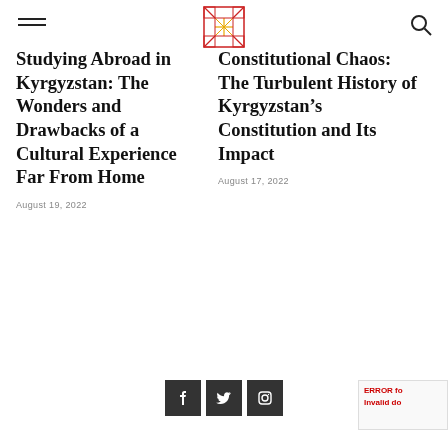[hamburger menu] [logo] [search icon]
Studying Abroad in Kyrgyzstan: The Wonders and Drawbacks of a Cultural Experience Far From Home
August 19, 2022
Constitutional Chaos: The Turbulent History of Kyrgyzstan’s Constitution and Its Impact
August 17, 2022
[Figure (other): Social media icons: Facebook, Twitter, Instagram in dark square buttons]